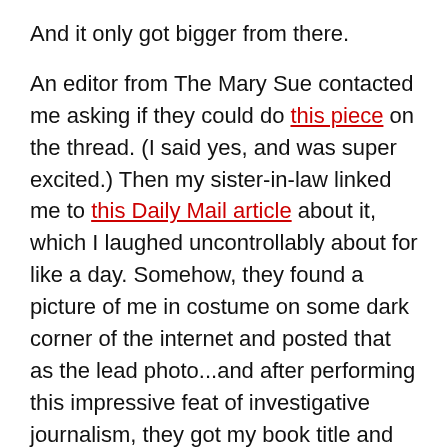And it only got bigger from there.
An editor from The Mary Sue contacted me asking if they could do this piece on the thread. (I said yes, and was super excited.) Then my sister-in-law linked me to this Daily Mail article about it, which I laughed uncontrollably about for like a day. Somehow, they found a picture of me in costume on some dark corner of the internet and posted that as the lead photo...and after performing this impressive feat of investigative journalism, they got my book title and state of residence wrong (they at least fixed the book title later). OH HEY GO AHEAD AND BLOW MY COVER AND REVEAL ME AS AN EVIL FAIRY QUEEN, DAILY MAIL, IT'S OKAY BECAUSE ALL THE HEROES SEEKING TO VANQUISH ME WILL GO TO MICHIGAN.